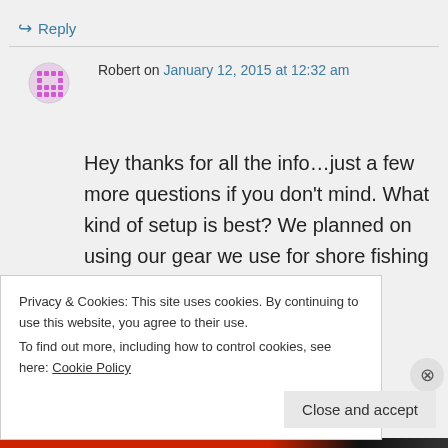↪ Reply
Robert on January 12, 2015 at 12:32 am
Hey thanks for all the info…just a few more questions if you don't mind. What kind of setup is best? We planned on using our gear we use for shore fishing here in Myrtle
Privacy & Cookies: This site uses cookies. By continuing to use this website, you agree to their use.
To find out more, including how to control cookies, see here: Cookie Policy
Close and accept